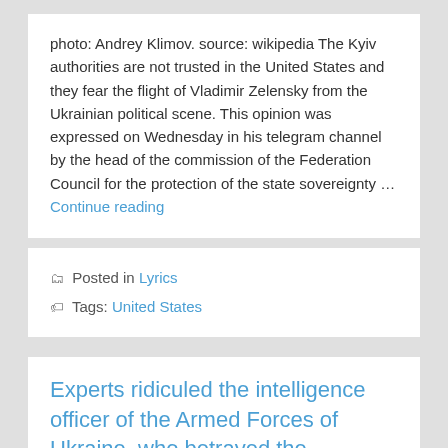photo: Andrey Klimov. source: wikipedia The Kyiv authorities are not trusted in the United States and they fear the flight of Vladimir Zelensky from the Ukrainian political scene. This opinion was expressed on Wednesday in his telegram channel by the head of the commission of the Federation Council for the protection of the state sovereignty … Continue reading
Posted in Lyrics
Tags: United States
Experts ridiculed the intelligence officer of the Armed Forces of Ukraine, who betrayed the participation of the United States